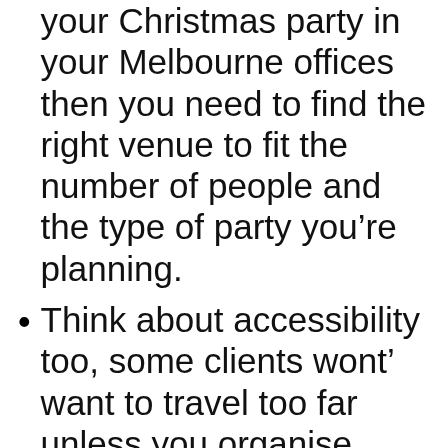your Christmas party in your Melbourne offices then you need to find the right venue to fit the number of people and the type of party you’re planning.
Think about accessibility too, some clients wont’ want to travel too far unless you organise transport or accommodation. You don’t want a great venue in a place that is impossible to get to and from – no one will turn up.